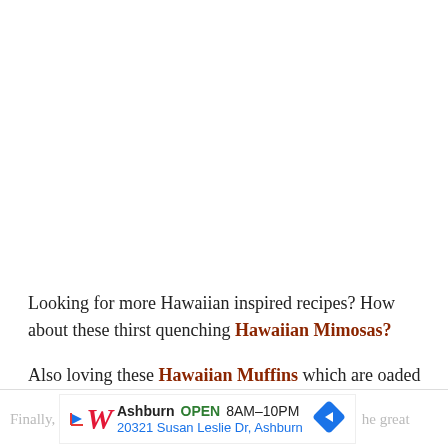Looking for more Hawaiian inspired recipes? How about these thirst quenching Hawaiian Mimosas?
Also loving these Hawaiian Muffins which are oaded with bananas, pineapple and coconut, they look fantastic!
[Figure (infographic): Walgreens advertisement banner showing location: Ashburn, OPEN 8AM-10PM, 20321 Susan Leslie Dr, Ashburn, with Walgreens logo and navigation arrow icon]